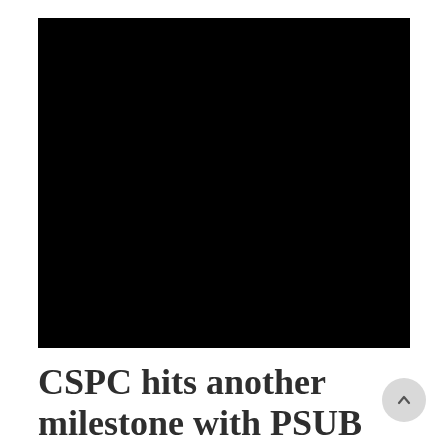[Figure (photo): A large black rectangular image placeholder occupying the upper portion of the page.]
CSPC hits another milestone with PSUB